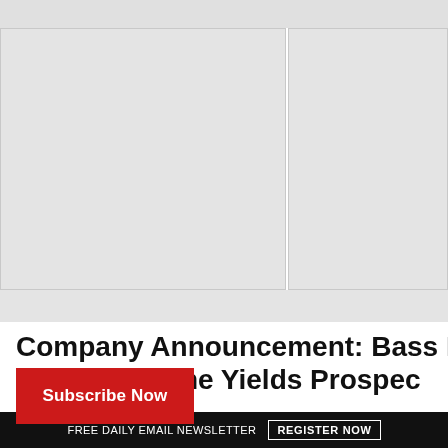[Figure (other): Two placeholder gray image boxes side by side, part of a webpage layout above the article title]
Company Announcement: Bass Metals Exploration Programme Yields Prospective MS Target
Subscribe Now
FREE DAILY EMAIL NEWSLETTER   REGISTER NOW